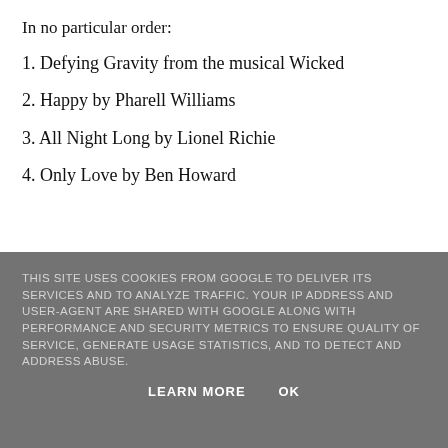In no particular order:
1. Defying Gravity from the musical Wicked
2. Happy by Pharell Williams
3. All Night Long by Lionel Richie
4. Only Love by Ben Howard
THIS SITE USES COOKIES FROM GOOGLE TO DELIVER ITS SERVICES AND TO ANALYZE TRAFFIC. YOUR IP ADDRESS AND USER-AGENT ARE SHARED WITH GOOGLE ALONG WITH PERFORMANCE AND SECURITY METRICS TO ENSURE QUALITY OF SERVICE, GENERATE USAGE STATISTICS, AND TO DETECT AND ADDRESS ABUSE.
LEARN MORE   OK